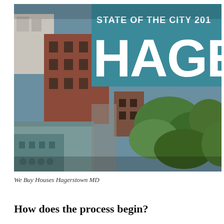[Figure (photo): Aerial view of Hagerstown MD city buildings with a teal banner overlay reading 'STATE OF THE CITY 201' and 'HAGE' (Hagerstown) in large white letters on the teal band. The scene shows brick buildings, rooftops, and green trees from above.]
We Buy Houses Hagerstown MD
How does the process begin?